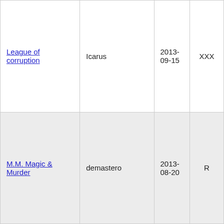| League of corruption | Icarus | 2013-09-15 | XXX |
| M.M. Magic & Murder | demastero | 2013-08-20 | R |